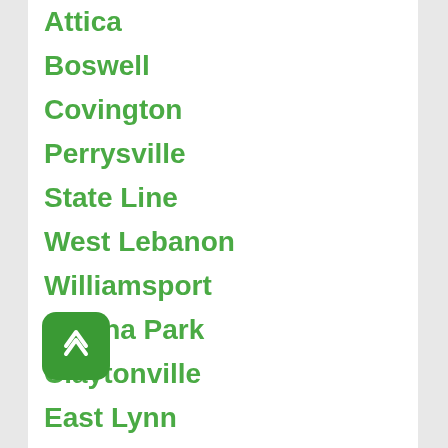Attica
Boswell
Covington
Perrysville
State Line
West Lebanon
Williamsport
Cissna Park
Claytonville
East Lynn
Goodwine
Hoopeston
Hollow
Milford